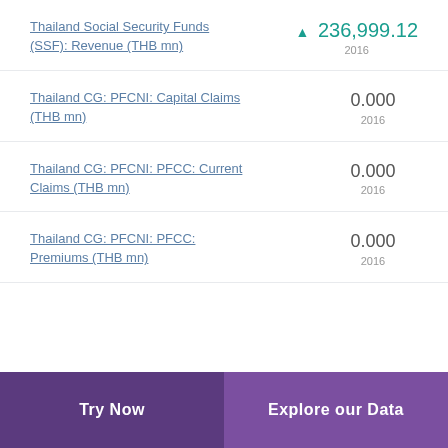Thailand Social Security Funds (SSF): Revenue (THB mn) — 236,999.12 — 2016
Thailand CG: PFCNI: Capital Claims (THB mn) — 0.000 — 2016
Thailand CG: PFCNI: PFCC: Current Claims (THB mn) — 0.000 — 2016
Thailand CG: PFCNI: PFCC: Premiums (THB mn) — 0.000 — 2016
Try Now | Explore our Data